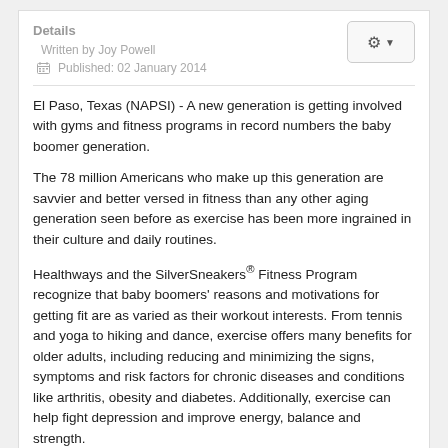Details
Written by Joy Powell
Published: 02 January 2014
El Paso, Texas (NAPSI) - A new generation is getting involved with gyms and fitness programs in record numbers the baby boomer generation.
The 78 million Americans who make up this generation are savvier and better versed in fitness than any other aging generation seen before as exercise has been more ingrained in their culture and daily routines.
Healthways and the SilverSneakers® Fitness Program recognize that baby boomers' reasons and motivations for getting fit are as varied as their workout interests. From tennis and yoga to hiking and dance, exercise offers many benefits for older adults, including reducing and minimizing the signs, symptoms and risk factors for chronic diseases and conditions like arthritis, obesity and diabetes. Additionally, exercise can help fight depression and improve energy, balance and strength.
SilverSneakers, the nation's leading exercise program designed exclusively for older adults, knows there is no one-